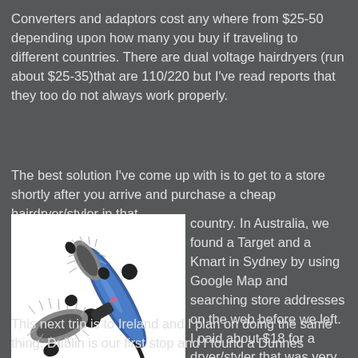Converters and adaptors cost any where from $25-50 depending upon how many you buy if traveling to different countries. There are dual voltage hairdryers (run about $25-35)that are 110/220 but I've read reports that they too do not always work properly.
The best solution I've come up with is to get to a store shortly after you arrive and purchase a cheap hairdryer/styler in that country. In Australia, we found a Target and a Kmart in Sydney by using Google Map and searching store addresses on the web before we left. I paid about $18 for a dryer/styler that was very similar to what I have at home and never had to worry about plugging it in.
[Figure (photo): A blue and black hair dryer/styler tool with cylindrical brush attachments, displayed on a white background.]
This next trip is to Ireland and I plan on doing the same thing. Dublin is our first stop and I found a Dunnes